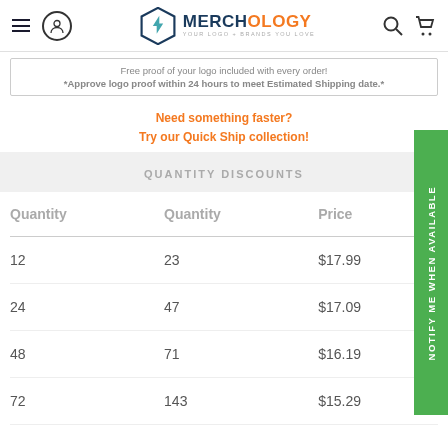MERCHOLOGY — YOUR LOGO + BRANDS YOU LOVE
Free proof of your logo included with every order!
*Approve logo proof within 24 hours to meet Estimated Shipping date.*
Need something faster?
Try our Quick Ship collection!
QUANTITY DISCOUNTS
| Quantity | Quantity | Price |
| --- | --- | --- |
| 12 | 23 | $17.99 |
| 24 | 47 | $17.09 |
| 48 | 71 | $16.19 |
| 72 | 143 | $15.29 |